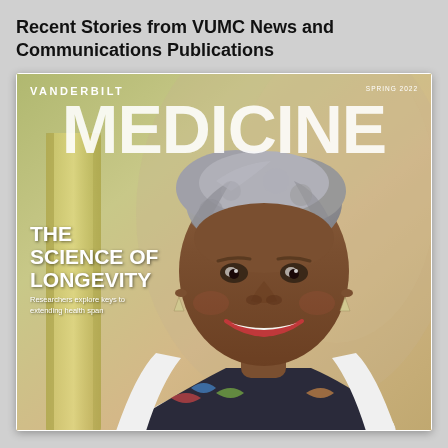Recent Stories from VUMC News and Communications Publications
[Figure (photo): Cover of Vanderbilt Medicine magazine, Spring 2022. Features a smiling older Black woman with gray hair against a warm background. Text on cover reads 'VANDERBILT MEDICINE', 'THE SCIENCE OF LONGEVITY', and subheading 'Researchers explore keys to extending health span'.]